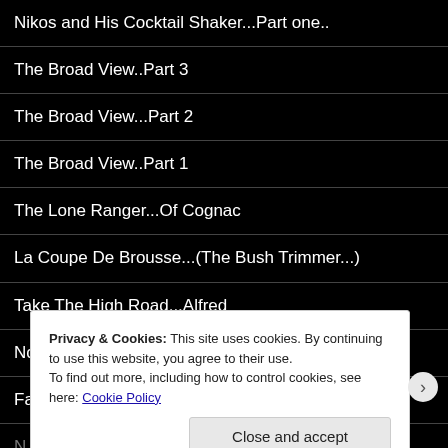Nikos and His Cocktail Shaker…Part one..
The Broad View..Part 3
The Broad View...Part 2
The Broad View..Part 1
The Lone Ranger...Of Cognac
La Coupe De Brousse...(The Bush Trimmer...)
Take The High Road...Alfred
Not, The Nine O'clock News
Fainting Goats
Privacy & Cookies: This site uses cookies. By continuing to use this website, you agree to their use.
To find out more, including how to control cookies, see here: Cookie Policy
Close and accept